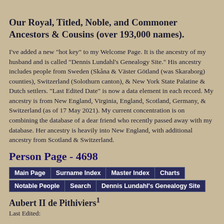Our Royal, Titled, Noble, and Commoner Ancestors & Cousins (over 193,000 names).
I've added a new "hot key" to my Welcome Page. It is the ancestry of my husband and is called "Dennis Lundahl's Genealogy Site." His ancestry includes people from Sweden (Skåna & Väster Götland (was Skaraborg) counties), Switzerland (Solothurn canton), & New York State Palatine & Dutch settlers. "Last Edited Date" is now a data element in each record. My ancestry is from New England, Virginia, England, Scotland, Germany, & Switzerland (as of 17 May 2021). My current concentration is on combining the database of a dear friend who recently passed away with my database. Her ancestry is heavily into New England, with additional ancestry from Scotland & Switzerland.
Person Page - 4698
Main Page | Surname Index | Master Index | Charts | Notable People | Search | Dennis Lundahl's Genealogy Site
Aubert II de Pithiviers1
Last Edited: